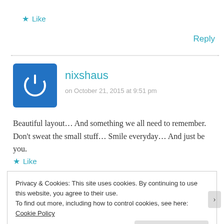★ Like
Reply
[Figure (logo): Blue square avatar with white power/on symbol icon for user nixshaus]
nixshaus
on October 21, 2015 at 9:51 pm
Beautiful layout… And something we all need to remember. Don't sweat the small stuff… Smile everyday… And just be you.
★ Like
Privacy & Cookies: This site uses cookies. By continuing to use this website, you agree to their use. To find out more, including how to control cookies, see here: Cookie Policy
Close and accept